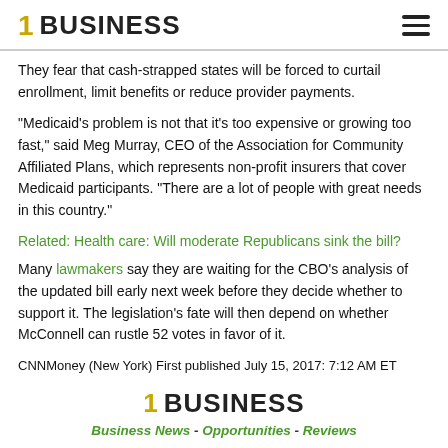1 BUSINESS
They fear that cash-strapped states will be forced to curtail enrollment, limit benefits or reduce provider payments.
“Medicaid’s problem is not that it’s too expensive or growing too fast,” said Meg Murray, CEO of the Association for Community Affiliated Plans, which represents non-profit insurers that cover Medicaid participants. “There are a lot of people with great needs in this country.”
Related: Health care: Will moderate Republicans sink the bill?
Many lawmakers say they are waiting for the CBO’s analysis of the updated bill early next week before they decide whether to support it. The legislation’s fate will then depend on whether McConnell can rustle 52 votes in favor of it.
CNNMoney (New York) First published July 15, 2017: 7:12 AM ET
1 BUSINESS
Business News - Opportunities - Reviews